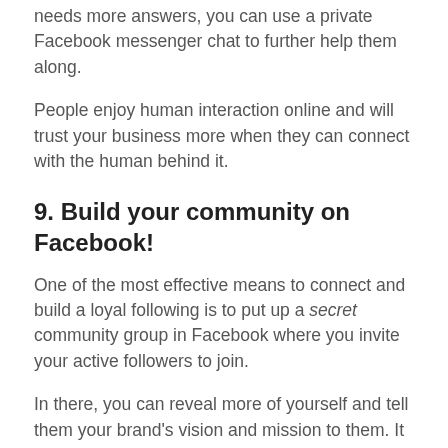needs more answers, you can use a private Facebook messenger chat to further help them along.
People enjoy human interaction online and will trust your business more when they can connect with the human behind it.
9. Build your community on Facebook!
One of the most effective means to connect and build a loyal following is to put up a secret community group in Facebook where you invite your active followers to join.
In there, you can reveal more of yourself and tell them your brand's vision and mission to them. It is in these communities that you can potentially build genuine relationships with your followers and make loyal customers out of them.